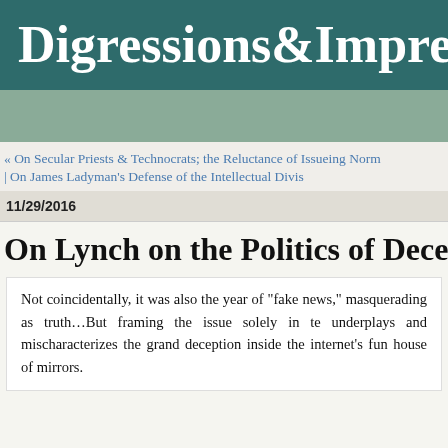Digressions&Impre
« On Secular Priests & Technocrats; the Reluctance of Issueing Norm | On James Ladyman's Defense of the Intellectual Divis
11/29/2016
On Lynch on the Politics of Deception
Not coincidentally, it was also the year of "fake news," masquerading as truth...But framing the issue solely in terms underplays and mischaracterizes the grand deception inside the internet's fun house of mirrors.